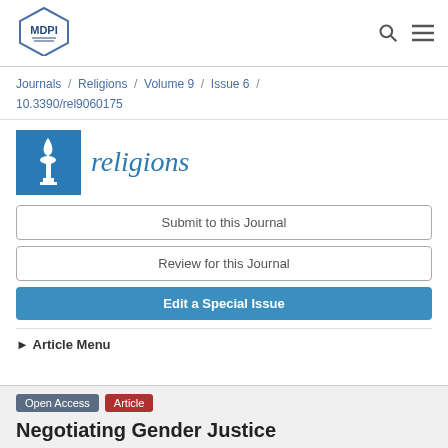[Figure (logo): MDPI logo — hexagon outline with stylized book pages and 'MDPI' text inside]
Journals / Religions / Volume 9 / Issue 6 / 10.3390/rel9060175
[Figure (logo): Religions journal logo — blue square with white flame/torch icon, italic 'religions' text beside it]
Submit to this Journal
Review for this Journal
Edit a Special Issue
► Article Menu
Open Access   Article
Negotiating Gender Justice